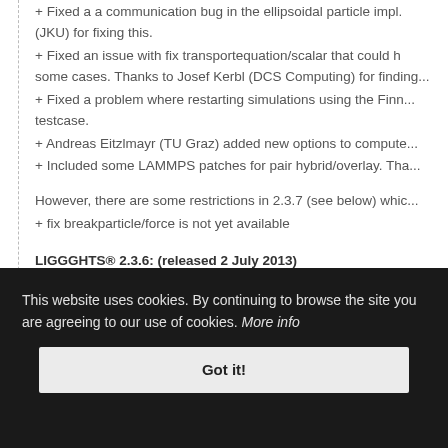+ Fixed a a communication bug in the ellipsoidal particle impl. (JKU) for fixing this.
+ Fixed an issue with fix transportequation/scalar that could h... some cases. Thanks to Josef Kerbl (DCS Computing) for finding...
+ Fixed a problem where restarting simulations using the Finn... testcase.
+ Andreas Eitzlmayr (TU Graz) added new options to compute...
+ Included some LAMMPS patches for pair hybrid/overlay. Tha...
However, there are some restrictions in 2.3.7 (see below) whic...
+ fix breakparticle/force is not yet available
LIGGGHTS® 2.3.6: (released 2 July 2013)
This website uses cookies. By continuing to browse the site you are agreeing to our use of cookies. More info
Got it!